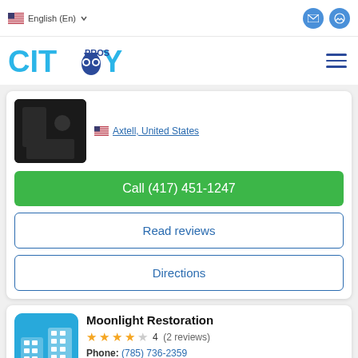English (En)
[Figure (logo): CityPros logo with owl icon]
Axtell, United States
Call (417) 451-1247
Read reviews
Directions
Moonlight Restoration
4  (2 reviews)
Phone: (785) 736-2359